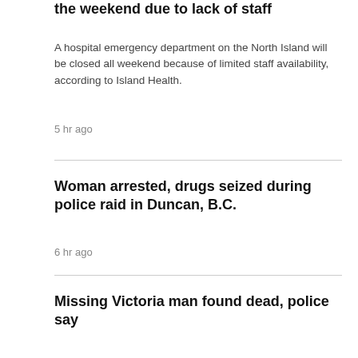the weekend due to lack of staff
A hospital emergency department on the North Island will be closed all weekend because of limited staff availability, according to Island Health.
5 hr ago
Woman arrested, drugs seized during police raid in Duncan, B.C.
6 hr ago
Missing Victoria man found dead, police say
6 hr ago
CALGARY
[Figure (photo): Photo strip at the bottom of the page showing people]